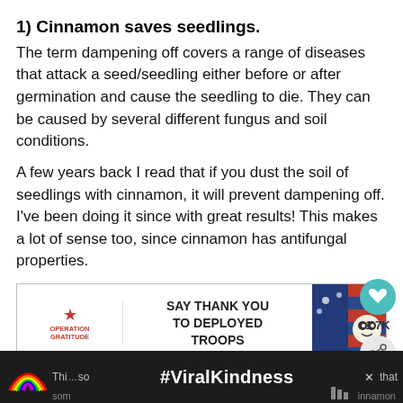1) Cinnamon saves seedlings.
The term dampening off covers a range of diseases that attack a seed/seedling either before or after germination and cause the seedling to die. They can be caused by several different fungus and soil conditions.
A few years back I read that if you dust the soil of seedlings with cinnamon, it will prevent dampening off. I've been doing it since with great results! This makes a lot of sense too, since cinnamon has antifungal properties.
[Figure (screenshot): Advertisement banner for Operation Gratitude: 'SAY THANK YOU TO DEPLOYED TROOPS' with logo and patriotic imagery]
[Figure (screenshot): Bottom advertisement banner with rainbow image and #ViralKindness hashtag on dark background, with partial text visible]